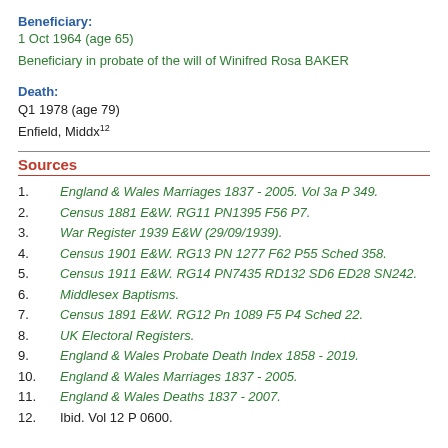Beneficiary:
1 Oct 1964 (age 65)
Beneficiary in probate of the will of Winifred Rosa BAKER
Death:
Q1 1978 (age 79)
Enfield, Middx12
Sources
1. England & Wales Marriages 1837 - 2005. Vol 3a P 349.
2. Census 1881 E&W. RG11 PN1395 F56 P7.
3. War Register 1939 E&W (29/09/1939).
4. Census 1901 E&W. RG13 PN 1277 F62 P55 Sched 358.
5. Census 1911 E&W. RG14 PN7435 RD132 SD6 ED28 SN242.
6. Middlesex Baptisms.
7. Census 1891 E&W. RG12 Pn 1089 F5 P4 Sched 22.
8. UK Electoral Registers.
9. England & Wales Probate Death Index 1858 - 2019.
10. England & Wales Marriages 1837 - 2005.
11. England & Wales Deaths 1837 - 2007.
12. Ibid. Vol 12 P 0600.